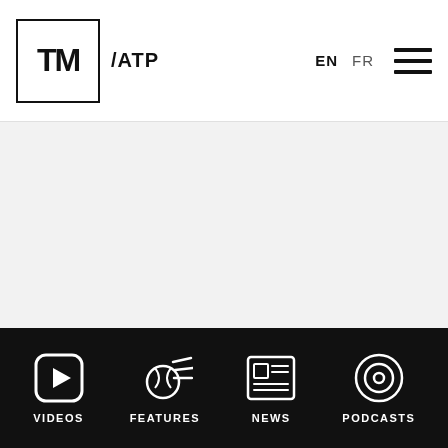TM / ATP — EN FR navigation header
[Figure (other): Large gray placeholder content area]
VIDEOS | FEATURES | NEWS | PODCASTS navigation footer